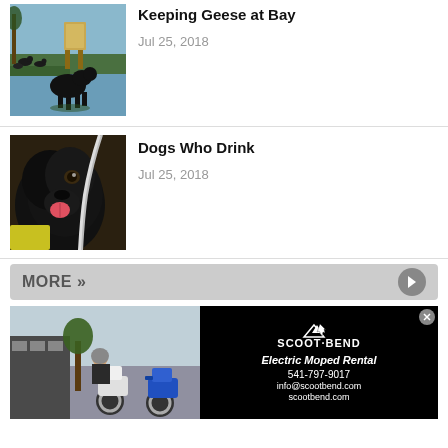[Figure (photo): Black dog on grass near water with geese in background]
Keeping Geese at Bay
Jul 25, 2018
[Figure (photo): Black dog drinking or licking water from a hose]
Dogs Who Drink
Jul 25, 2018
MORE »
[Figure (photo): Scoot Bend Electric Moped Rental advertisement showing mopeds and rider]
SCOOT BEND
Electric Moped Rental
541-797-9017
info@scootbend.com
scootbend.com